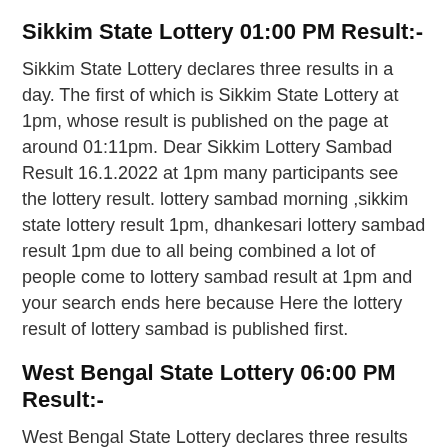Sikkim State Lottery 01:00 PM Result:-
Sikkim State Lottery declares three results in a day. The first of which is Sikkim State Lottery at 1pm, whose result is published on the page at around 01:11pm. Dear Sikkim Lottery Sambad Result 16.1.2022 at 1pm many participants see the lottery result. lottery sambad morning ,sikkim state lottery result 1pm, dhankesari lottery sambad result 1pm due to all being combined a lot of people come to lottery sambad result at 1pm and your search ends here because Here the lottery result of lottery sambad is published first.
West Bengal State Lottery 06:00 PM Result:-
West Bengal State Lottery declares three results in a day. The second one is Nagaland State Lottery at 06:00